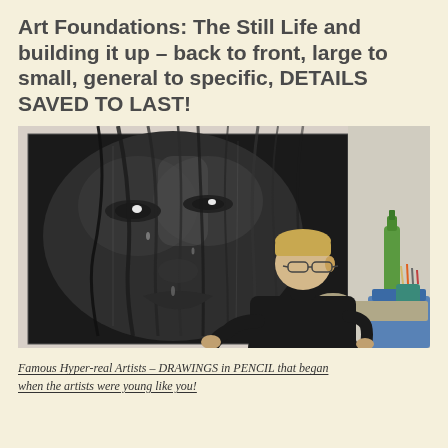Art Foundations: The Still Life and building it up – back to front, large to small, general to specific, DETAILS SAVED TO LAST!
[Figure (photo): A man with glasses and blonde hair wearing a black turtleneck sits at a worktable working on a drawing, with a massive hyper-realistic pencil drawing of a woman's face covering a large canvas behind him. Art supplies and a green bottle are visible to the right.]
Famous Hyper-real Artists – DRAWINGS in PENCIL that began when the artists were young like you!